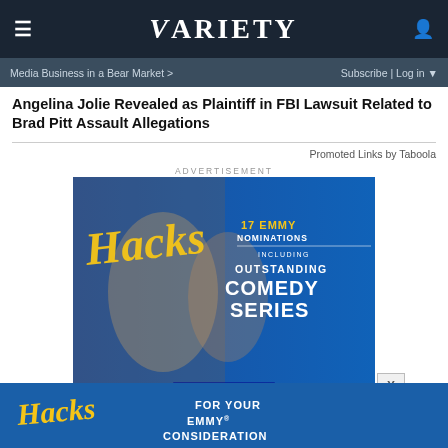≡   VARIETY   👤
Media Business in a Bear Market >   Subscribe | Log in ▼
Angelina Jolie Revealed as Plaintiff in FBI Lawsuit Related to Brad Pitt Assault Allegations
Promoted Links by Taboola
ADVERTISEMENT
[Figure (photo): Hacks TV show advertisement: 17 EMMY NOMINATIONS INCLUDING OUTSTANDING COMEDY SERIES. Two women posing — older blonde woman in teal kimono with leopard print, younger woman with white sunglasses. Universal logo at bottom.]
[Figure (photo): Hacks FOR YOUR EMMY CONSIDERATION bottom banner advertisement on blue background.]